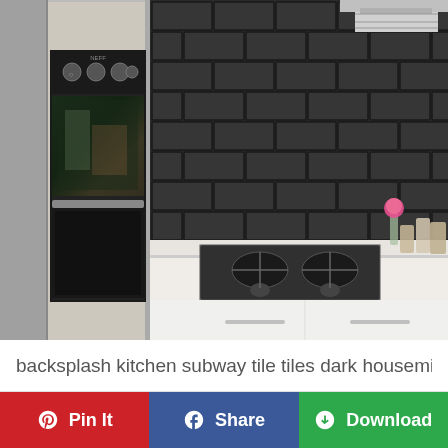[Figure (photo): Modern kitchen with dark charcoal/black subway tile backsplash, built-in stainless steel oven on left wall, gas cooktop on white counter, range hood, and white lower cabinets with bar handles.]
backsplash kitchen subway tile tiles dark houseminds k…
Pin It
Share
Download